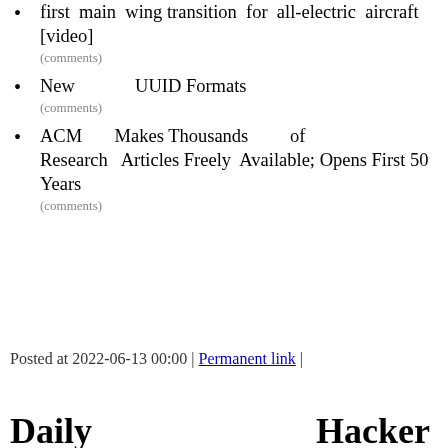first main wing transition for all-electric aircraft [video]
(comments)
New UUID Formats
(comments)
ACM Makes Thousands of Research Articles Freely Available; Opens First 50 Years
(comments)
Posted at 2022-06-13 00:00 | Permanent link |
Daily Hacker News for 2022-06-11